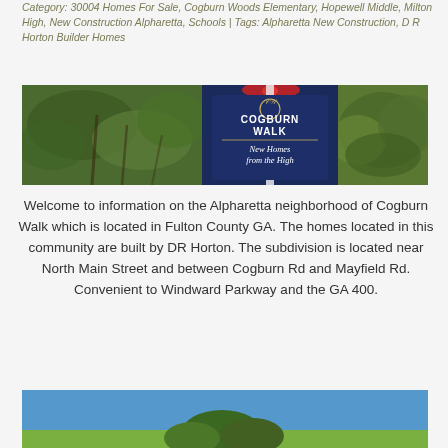Category: 30004 Homes For Sale, Cogburn Woods Elementary, Hopewell Middle, Milton High, New Construction Alpharetta, Schools | Tags: Alpharetta New Construction, D R Horton Builder Homes
[Figure (photo): Photo strip showing Cogburn Walk neighborhood sign with 'New Homes from the High' tagline, flanked by trees]
Welcome to information on the Alpharetta neighborhood of Cogburn Walk which is located in Fulton County GA. The homes located in this community are built by DR Horton. The subdivision is located near North Main Street and between Cogburn Rd and Mayfield Rd. Convenient to Windward Parkway and the GA 400.
[Figure (photo): Partial photo of neighborhood or homes, blue sky visible at bottom of page]